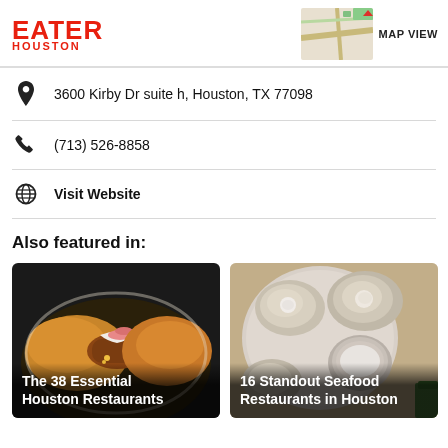EATER HOUSTON
3600 Kirby Dr suite h, Houston, TX 77098
(713) 526-8858
Visit Website
Also featured in:
[Figure (photo): Food photo: a plate with Mexican rice, enchiladas topped with cream and pickled onions]
The 38 Essential Houston Restaurants
[Figure (photo): Overhead photo of oysters on a platter with a small bowl of sauce]
16 Standout Seafood Restaurants in Houston